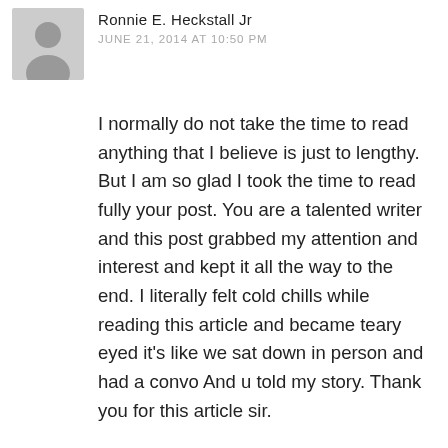[Figure (illustration): Generic user avatar icon — a silhouette of a person in a grey circle, used as a default profile photo placeholder]
Ronnie E. Heckstall Jr
JUNE 21, 2014 AT 10:50 PM
I normally do not take the time to read anything that I believe is just to lengthy. But I am so glad I took the time to read fully your post. You are a talented writer and this post grabbed my attention and interest and kept it all the way to the end. I literally felt cold chills while reading this article and became teary eyed it's like we sat down in person and had a convo And u told my story. Thank you for this article sir.